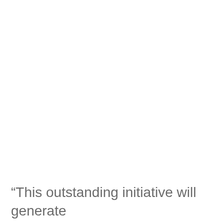“This outstanding initiative will generate